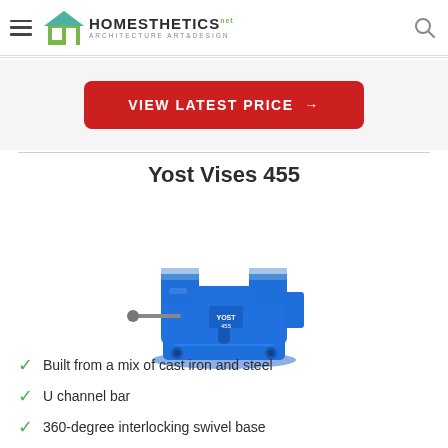Homesthetics - Architecture Art & Design
VIEW LATEST PRICE →
Yost Vises 455
[Figure (photo): Blue Yost Vises 455 bench vise with cast iron and steel construction, featuring a 360-degree swivel base and U channel bar]
Built from a mix of cast iron and steel
U channel bar
360-degree interlocking swivel base